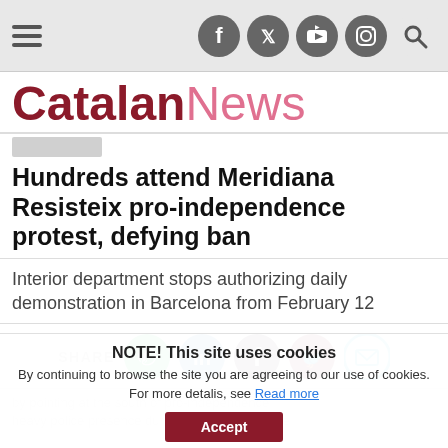Navigation bar with hamburger menu and social media icons (Facebook, Twitter, YouTube, Instagram, Search)
Catalan News
Hundreds attend Meridiana Resisteix pro-independence protest, defying ban
Interior department stops authorizing daily demonstration in Barcelona from February 12
SHARE
NOTE! This site uses cookies
By continuing to browse the site you are agreeing to our use of cookies. For more detalis, see Read more
Accept